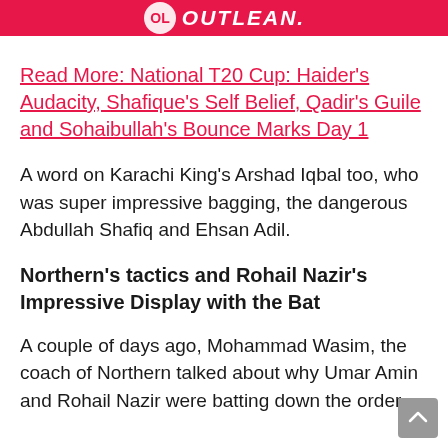OUTLEAN.
Read More: National T20 Cup: Haider's Audacity, Shafique's Self Belief, Qadir's Guile and Sohaibullah's Bounce Marks Day 1
A word on Karachi King's Arshad Iqbal too, who was super impressive bagging, the dangerous Abdullah Shafiq and Ehsan Adil.
Northern's tactics and Rohail Nazir's Impressive Display with the Bat
A couple of days ago, Mohammad Wasim, the coach of Northern talked about why Umar Amin and Rohail Nazir were batting down the order.